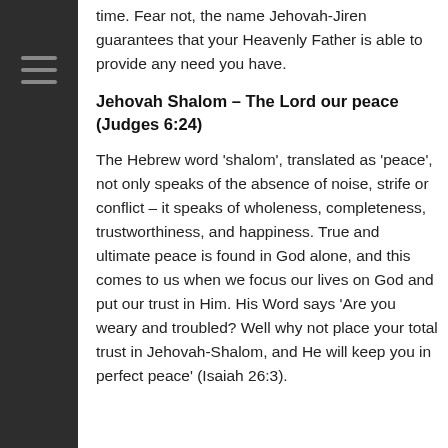time. Fear not, the name Jehovah-Jiren guarantees that your Heavenly Father is able to provide any need you have.
Jehovah Shalom – The Lord our peace (Judges 6:24)
The Hebrew word 'shalom', translated as 'peace', not only speaks of the absence of noise, strife or conflict – it speaks of wholeness, completeness, trustworthiness, and happiness. True and ultimate peace is found in God alone, and this comes to us when we focus our lives on God and put our trust in Him. His Word says 'Are you weary and troubled? Well why not place your total trust in Jehovah-Shalom, and He will keep you in perfect peace' (Isaiah 26:3).